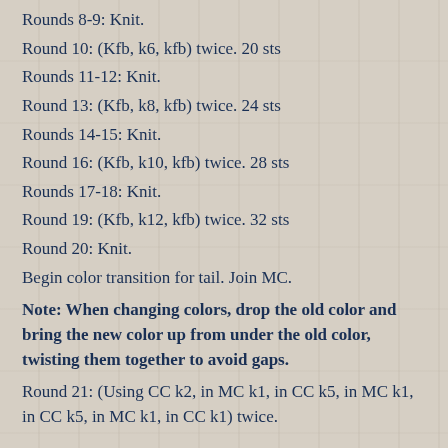Rounds 8-9: Knit.
Round 10: (Kfb, k6, kfb) twice. 20 sts
Rounds 11-12: Knit.
Round 13: (Kfb, k8, kfb) twice. 24 sts
Rounds 14-15: Knit.
Round 16: (Kfb, k10, kfb) twice. 28 sts
Rounds 17-18: Knit.
Round 19: (Kfb, k12, kfb) twice. 32 sts
Round 20: Knit.
Begin color transition for tail. Join MC.
Note: When changing colors, drop the old color and bring the new color up from under the old color, twisting them together to avoid gaps.
Round 21: (Using CC k2, in MC k1, in CC k5, in MC k1, in CC k5, in MC k1, in CC k1) twice.